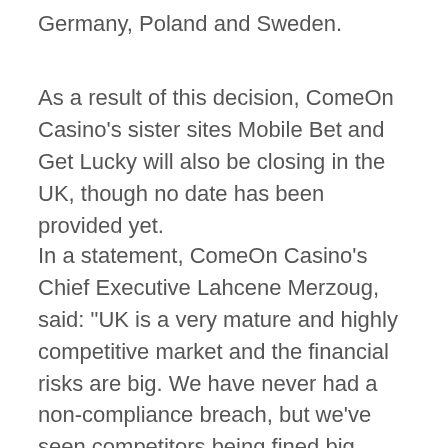Germany, Poland and Sweden.
As a result of this decision, ComeOn Casino’s sister sites Mobile Bet and Get Lucky will also be closing in the UK, though no date has been provided yet.
In a statement, ComeOn Casino’s Chief Executive Lahcene Merzoug, said: “UK is a very mature and highly competitive market and the financial risks are big. We have never had a non-compliance breach, but we’ve seen competitors being fined big numbers and that creates uncertainty.